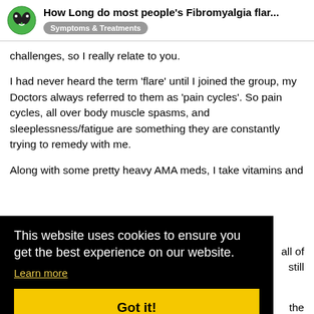How Long do most people's Fibromyalgia flar... | Symptoms & Treatments
challenges, so I really relate to you.
I had never heard the term 'flare' until I joined the group, my Doctors always referred to them as 'pain cycles'. So pain cycles, all over body muscle spasms, and sleeplessness/fatigue are something they are constantly trying to remedy with me.
Along with some pretty heavy AMA meds, I take vitamins and [partially obscured] all of [partially obscured] still
[Cookie banner] This website uses cookies to ensure you get the best experience on our website. Learn more | Got it!
[partially obscured] the [partially obscured] f my [partially obscured] I don't [partially obscured] s that
the most controversial illness of today! Et suffer this too, teens, young parents, and